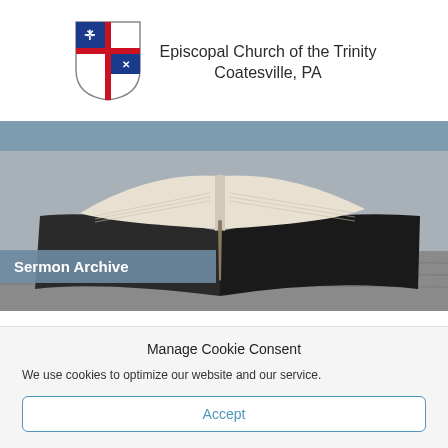[Figure (logo): Episcopal Church shield logo with cross and decorative symbols]
Episcopal Church of the Trinity
Coatesville, PA
[Figure (photo): Open bible/book on a wooden surface with blurred background]
Sermon Archive
Manage Cookie Consent
We use cookies to optimize our website and our service.
Accept